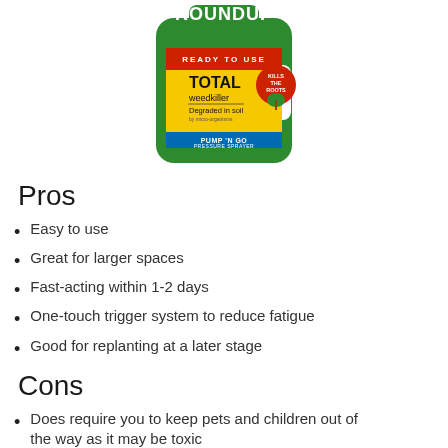[Figure (photo): Roundup Ready To Use Total Weedkiller Pump 'N Go Pressure Sprayer bottle with green body, red and yellow label]
Pros
Easy to use
Great for larger spaces
Fast-acting within 1-2 days
One-touch trigger system to reduce fatigue
Good for replanting at a later stage
Cons
Does require you to keep pets and children out of the way as it may be toxic
Can be difficult to avoid spraying on plants as well